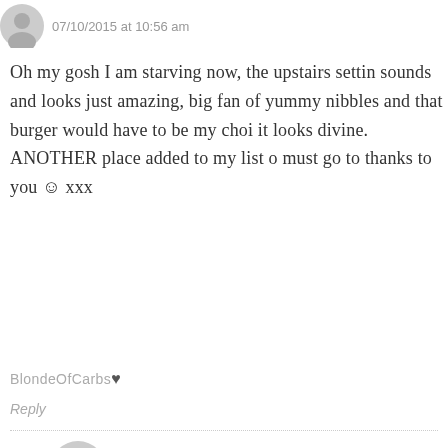07/10/2015 at 10:56 am
Oh my gosh I am starving now, the upstairs setting sounds and looks just amazing, big fan of yummy nibbles and that burger would have to be my choi it looks divine. ANOTHER place added to my list o must go to thanks to you ☺ xxx
BlondeOfCarbs♥
Reply
The Elle Next Door says: 08/10/2015 at 7:02 am
Haha oh no, I have a habit of doing that! It rea